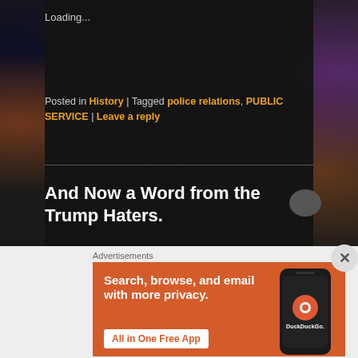Loading...
Posted in History | Tagged police relations, PUBLIC SERVICE | Leave a reply
And Now a Word from the Trump Haters.
Posted on August 22, 2018
[Figure (photo): Broken image placeholder with alt text 'See the source image']
Advertisements
[Figure (infographic): DuckDuckGo advertisement banner: Search, browse, and email with more privacy. All in One Free App. Shows DuckDuckGo app on phone.]